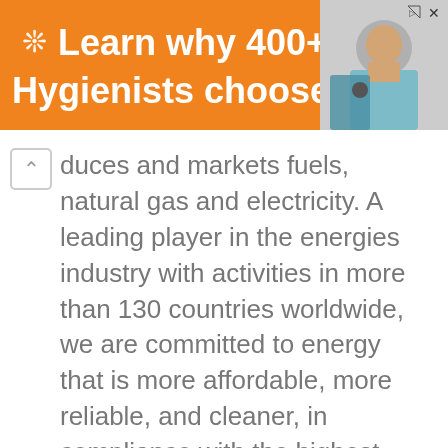[Figure (infographic): Orange advertisement banner reading 'Learn why 400+ Hygienists choose Benevis' with a snowflake/asterisk logo icon on the left and a dental patient/hygienist photo on the right]
duces and markets fuels, natural gas and electricity. A leading player in the energies industry with activities in more than 130 countries worldwide, we are committed to energy that is more affordable, more reliable, and cleaner, in compliance with the highest safety and environmental standards.